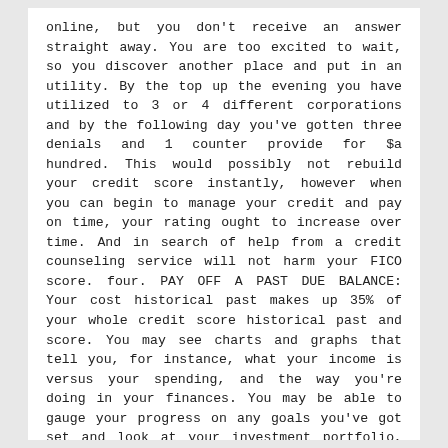online, but you don't receive an answer straight away. You are too excited to wait, so you discover another place and put in an utility. By the top up the evening you have utilized to 3 or 4 different corporations and by the following day you've gotten three denials and 1 counter provide for $a hundred. This would possibly not rebuild your credit score instantly, however when you can begin to manage your credit and pay on time, your rating ought to increase over time. And in search of help from a credit counseling service will not harm your FICO score. four. PAY OFF A PAST DUE BALANCE: Your cost historical past makes up 35% of your whole credit score historical past and score. You may see charts and graphs that tell you, for instance, what your income is versus your spending, and the way you're doing in your finances. You may be able to gauge your progress on any goals you've got set and look at your investment portfolio, with dwell costs if it is throughout the market day. Much like a secured credit card, a prepaid debit card is a kind of secured cost card, where the obtainable funds match the money someone already has parked in a linked bank account. In contrast,